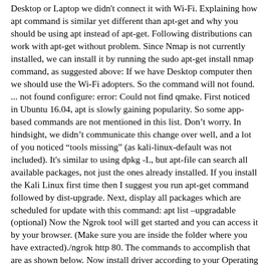Desktop or Laptop we didn't connect it with Wi-Fi. Explaining how apt command is similar yet different than apt-get and why you should be using apt instead of apt-get. Following distributions can work with apt-get without problem. Since Nmap is not currently installed, we can install it by running the sudo apt-get install nmap command, as suggested above: If we have Desktop computer then we should use the Wi-Fi adopters. So the command will not found. ... not found configure: error: Could not find qmake. First noticed in Ubuntu 16.04, apt is slowly gaining popularity. So some app-based commands are not mentioned in this list. Donât worry. In hindsight, we didnât communicate this change over well, and a lot of you noticed âtools missingâ (as kali-linux-default was not included). It's similar to using dpkg -L, but apt-file can search all available packages, not just the ones already installed. If you install the Kali Linux first time then I suggest you run apt-get command followed by dist-upgrade. Next, display all packages which are scheduled for update with this command: apt list âupgradable (optional) Now the Ngrok tool will get started and you can access it by your browser. (Make sure you are inside the folder where you have extracted)./ngrok http 80. The commands to accomplish that are as shown below. Now install driver according to your Operating System-VBoxWindowsAdditions-For all windows versions. It accomplishes this by maintaining a local cacheof package contents. On you Kali Linux machine, youâll get the following dialog box. I noticed almost immediately, Armitage a GUI front-end for the Metaspolit Framework, had already been...